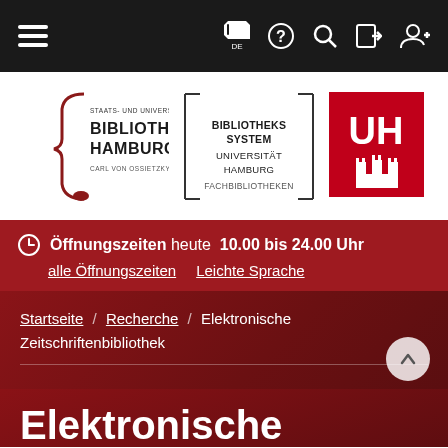[Figure (screenshot): Navigation bar with hamburger menu, flag/DE icon, help icon, search icon, login icon, and user-add icon on dark background]
[Figure (logo): Staats- und Universitätsbibliothek Hamburg Carl von Ossietzky logo, Bibliothekssystem Universität Hamburg Fachbibliotheken text logo, and UH university logo in red square]
Öffnungszeiten heute 10.00 bis 24.00 Uhr
alle Öffnungszeiten   Leichte Sprache
Startseite / Recherche / Elektronische Zeitschriftenbibliothek
Elektronische